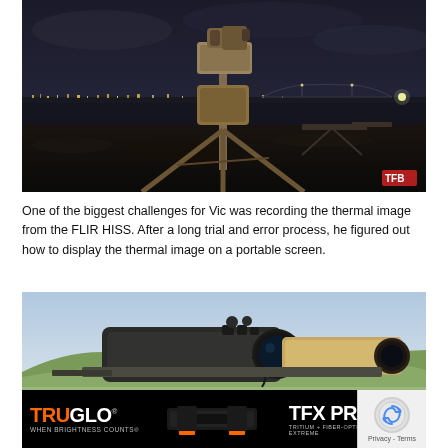[Figure (photo): Nighttime outdoor photo of a thermal imaging device (FLIR HISS) mounted on a tripod, with a city lights skyline and a bridge visible in the background over dark water. A rifle is also visible on another tripod in the mid-ground. TFB watermark in bottom-right corner.]
One of the biggest challenges for Vic was recording the thermal image from the FLIR HISS. After a long trial and error process, he figured out how to display the thermal image on a portable screen.
[Figure (photo): Daytime outdoor photo of a large thermal or night-vision scope mounted on a rifle, with green hills in the background. A TruGlo advertisement banner is overlaid at the bottom showing TFX PRO sights with text 'TRUGLO WHEN BRIGHTNESS COUNTS' and 'TFX PRO TRITIUM + FIBER-OPTIC EXTREME'. A privacy/reCAPTCHA widget appears in the bottom-right corner.]